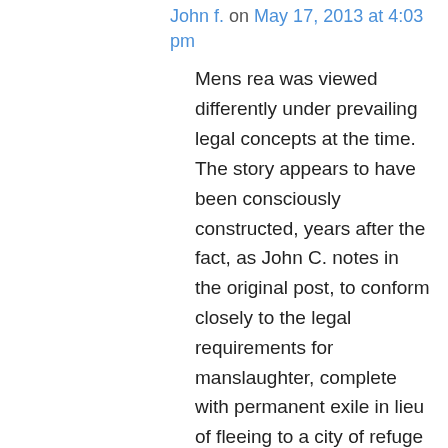John f. on May 17, 2013 at 4:03 pm
Mens rea was viewed differently under prevailing legal concepts at the time. The story appears to have been consciously constructed, years after the fact, as John C. notes in the original post, to conform closely to the legal requirements for manslaughter, complete with permanent exile in lieu of fleeing to a city of refuge (thus not polluting the land with blood taint — the apparent policy reason behind the pre-trial city of refuge and post-trial city of asylum for the acquited arrangement). (See Exodus 21:13 — “And if a man lie not in wait, but God deliver him into his hand, then I will appoint thee a place whither he shall flee.”) Nephi even specifically took pains to state that he went into the city that night “not